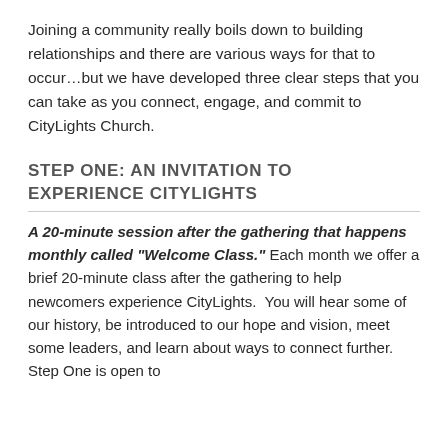Joining a community really boils down to building relationships and there are various ways for that to occur…but we have developed three clear steps that you can take as you connect, engage, and commit to CityLights Church.
STEP ONE: AN INVITATION TO EXPERIENCE CITYLIGHTS
A 20-minute session after the gathering that happens monthly called "Welcome Class." Each month we offer a brief 20-minute class after the gathering to help newcomers experience CityLights. You will hear some of our history, be introduced to our hope and vision, meet some leaders, and learn about ways to connect further. Step One is open to